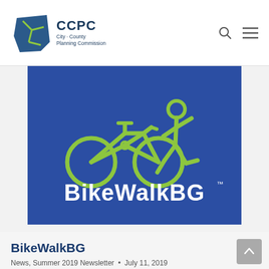CCPC City-County Planning Commission
[Figure (logo): BikeWalkBG logo on dark blue background: green bicycle and running person icons above white bold text 'BikeWalkBG' with trademark symbol]
BikeWalkBG
News, Summer 2019 Newsletter • July 11, 2019
BikeWalkBG Launches Bike Bowling Green Map BikeWalkBG, the community's bicycle and pedestrian